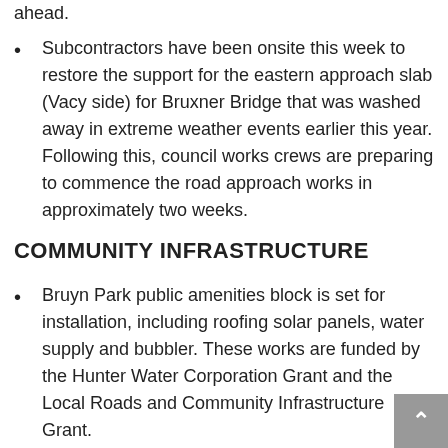Subcontractors have been onsite this week to restore the support for the eastern approach slab (Vacy side) for Bruxner Bridge that was washed away in extreme weather events earlier this year. Following this, council works crews are preparing to commence the road approach works in approximately two weeks.
COMMUNITY INFRASTRUCTURE
Bruyn Park public amenities block is set for installation, including roofing solar panels, water supply and bubbler. These works are funded by the Hunter Water Corporation Grant and the Local Roads and Community Infrastructure Grant.
Demolition of the old Shelton Shed on Hooke Street is progressing, with services being